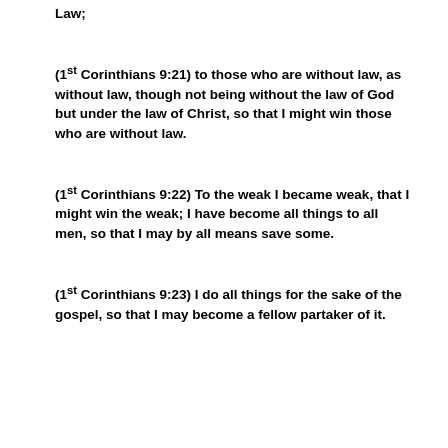Law;
(1st Corinthians 9:21)  to those who are without law, as without law, though not being without the law of God but under the law of Christ, so that I might win those who are without law.
(1st Corinthians 9:22)  To the weak I became weak, that I might win the weak; I have become all things to all men, so that I may by all means save some.
(1st Corinthians 9:23)  I do all things for the sake of the gospel, so that I may become a fellow partaker of it.